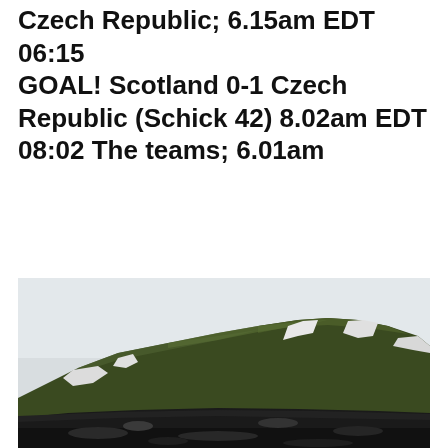Czech Republic; 6.15am EDT 06:15 GOAL! Scotland 0-1 Czech Republic (Schick 42) 8.02am EDT 08:02 The teams; 6.01am
[Figure (photo): Landscape photograph of a green moss-covered volcanic mountain with patches of snow, set against a pale overcast sky, with dark black volcanic rock/gravel in the foreground.]